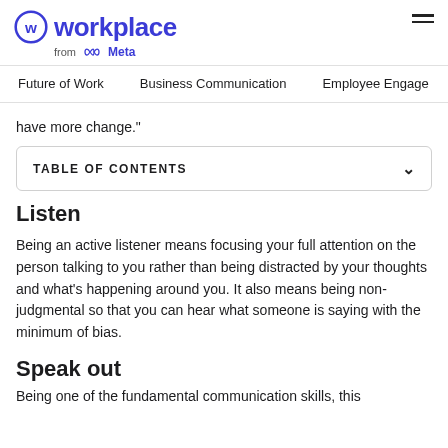workplace from Meta
Future of Work   Business Communication   Employee Engage
have more change."
TABLE OF CONTENTS
Listen
Being an active listener means focusing your full attention on the person talking to you rather than being distracted by your thoughts and what's happening around you. It also means being non-judgmental so that you can hear what someone is saying with the minimum of bias.
Speak out
Being one of the fundamental communication skills, this